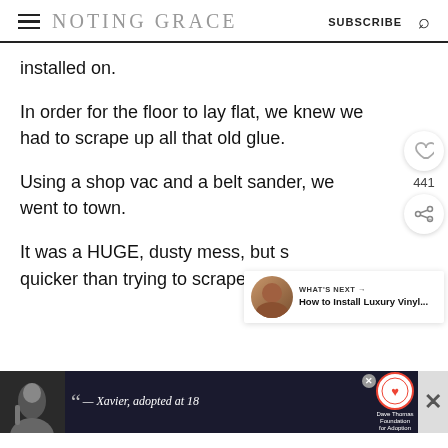NOTING GRACE | SUBSCRIBE
installed on.
In order for the floor to lay flat, we knew we had to scrape up all that old glue.
Using a shop vac and a belt sander, we went to town.
It was a HUGE, dusty mess, but s... quicker than trying to scrape it off by h...
[Figure (other): Advertisement banner: Dave Thomas Foundation for Adoption with quote from Xavier, adopted at 18]